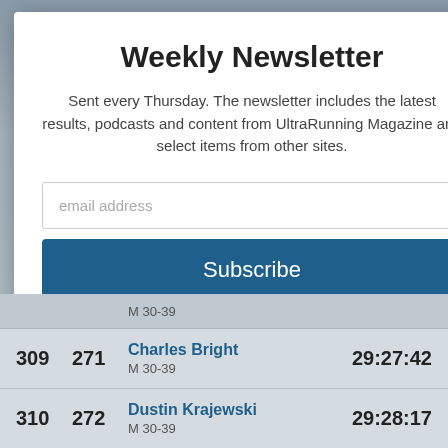Weekly Newsletter
Sent every Thursday. The newsletter includes the latest results, podcasts and content from UltraRunning Magazine and select items from other sites.
email address
Subscribe
M 30-39
| Rank | Bib | Name/Category | Time |
| --- | --- | --- | --- |
| 309 | 271 | Charles Bright
M 30-39 | 29:27:42 |
| 310 | 272 | Dustin Krajewski
M 30-39 | 29:28:17 |